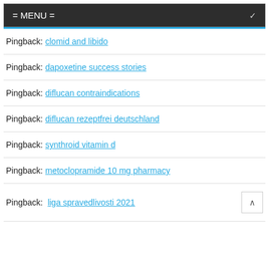= MENU =
Pingback: clomid and libido
Pingback: dapoxetine success stories
Pingback: diflucan contraindications
Pingback: diflucan rezeptfrei deutschland
Pingback: synthroid vitamin d
Pingback: metoclopramide 10 mg pharmacy
Pingback: liga spravedlivosti 2021